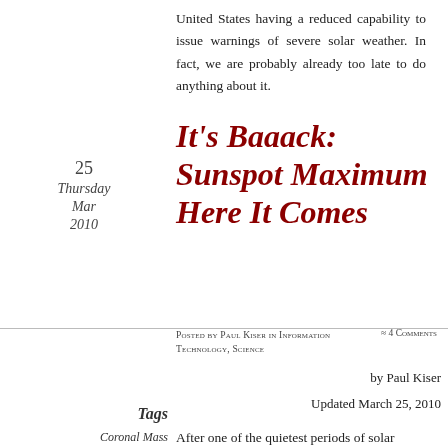United States having a reduced capability to issue warnings of severe solar weather. In fact, we are probably already too late to do anything about it.
It's Baaack: Sunspot Maximum Here It Comes
Posted by Paul Kiser in Information Technology, Science ≈ 4 Comments
by Paul Kiser
Updated March 25, 2010
Tags
Coronal Mass
After one of the quietest periods of solar activity in